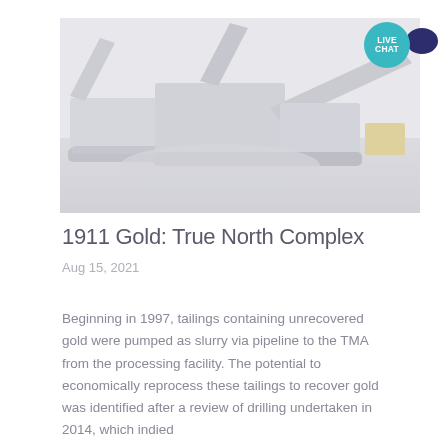[Figure (photo): Mining processing facility with heavy industrial machinery including conveyor belts and crushers on a large open site, faded/light grayscale image.]
1911 Gold: True North Complex
Aug 15, 2021
Beginning in 1997, tailings containing unrecovered gold were pumped as slurry via pipeline to the TMA from the processing facility. The potential to economically reprocess these tailings to recover gold was identified after a review of drilling undertaken in 2014, which indied